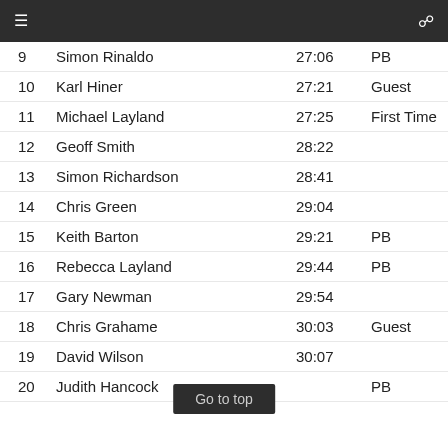≡   [monitor icon]
| # | Name | Time | Note |
| --- | --- | --- | --- |
| 9 | Simon Rinaldo | 27:06 | PB |
| 10 | Karl Hiner | 27:21 | Guest |
| 11 | Michael Layland | 27:25 | First Time |
| 12 | Geoff Smith | 28:22 |  |
| 13 | Simon Richardson | 28:41 |  |
| 14 | Chris Green | 29:04 |  |
| 15 | Keith Barton | 29:21 | PB |
| 16 | Rebecca Layland | 29:44 | PB |
| 17 | Gary Newman | 29:54 |  |
| 18 | Chris Grahame | 30:03 | Guest |
| 19 | David Wilson | 30:07 |  |
| 20 | Judith Hancock |  | PB |
Go to top